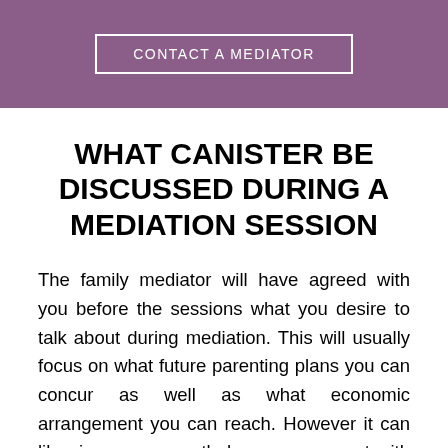[Figure (other): Purple banner with a white-bordered button labeled CONTACT A MEDIATOR]
WHAT CANISTER BE DISCUSSED DURING A MEDIATION SESSION
The family mediator will have agreed with you before the sessions what you desire to talk about during mediation. This will usually focus on what future parenting plans you can concur as well as what economic arrangement you can reach. However it can likewise cover exactly how you connect with each various other relocating forwards or what acting plans can be gotten to whilst your separation mediation is